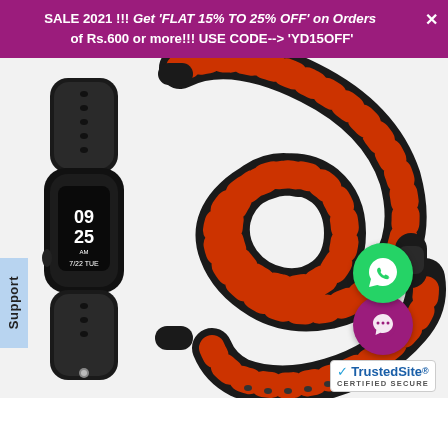SALE 2021 !!! Get 'FLAT 15% TO 25% OFF' on Orders of Rs.600 or more!!! USE CODE--> 'YD15OFF'
[Figure (photo): Product photo of a black and red perforated sport band fitness tracker/smartwatch showing the watch face displaying 09:25 AM 7/22 TUE, alongside the detached sport band crossed over itself showing red dot perforations on black background]
Support
[Figure (logo): TrustedSite Certified Secure badge with green WhatsApp icon circle above a purple chat icon circle, and TrustedSite logo with checkmark below]